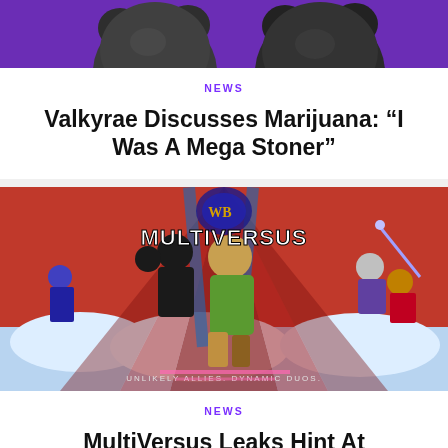[Figure (photo): Top cropped image showing two dark bear/creature heads on a purple background]
NEWS
Valkyrae Discusses Marijuana: “I Was A Mega Stoner”
[Figure (photo): MultiVersus game promotional art showing Batman, Shaggy and other Warner Bros characters fighting, with 'MultiVersus' logo and tagline 'UNLIKELY ALLIES. DYNAMIC DUOS.']
NEWS
MultiVersus Leaks Hint At Beetlejuice,